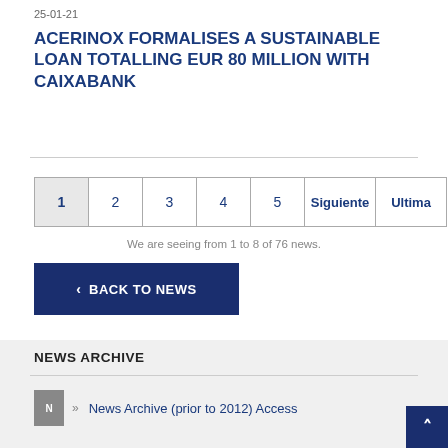25-01-21
ACERINOX FORMALISES A SUSTAINABLE LOAN TOTALLING EUR 80 MILLION WITH CAIXABANK
1  2  3  4  5  Siguiente  Ultima
We are seeing from 1 to 8 of 76 news.
< BACK TO NEWS
NEWS ARCHIVE
News Archive (prior to 2012) Access